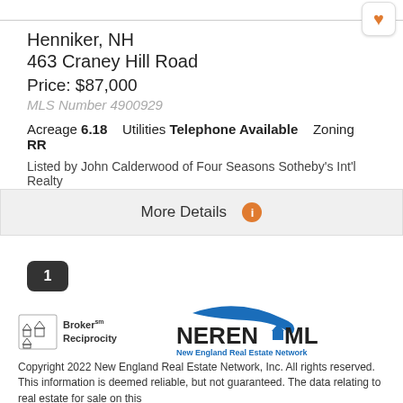Henniker, NH
463 Craney Hill Road
Price: $87,000
MLS Number 4900929
Acreage 6.18   Utilities Telephone Available   Zoning RR
Listed by John Calderwood of Four Seasons Sotheby's Int'l Realty
More Details
1
[Figure (logo): Broker Reciprocity logo and NEREN MLS New England Real Estate Network logo]
Copyright 2022 New England Real Estate Network, Inc. All rights reserved. This information is deemed reliable, but not guaranteed. The data relating to real estate for sale on this